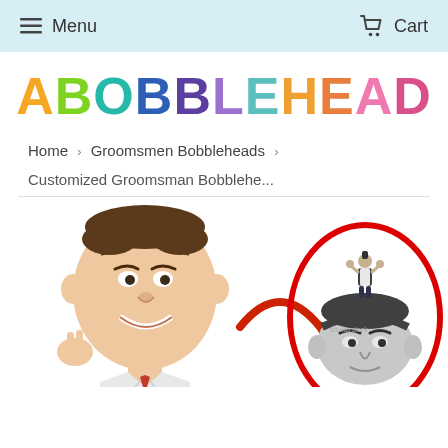Menu   Cart
[Figure (logo): ABOBBLEHEAD logo in rainbow multicolored large bold letters]
Home › Groomsmen Bobbleheads ›
Customized Groomsman Bobblehe...
[Figure (photo): Product photo showing a custom bobblehead figurine of a man in a suit on the left, a red arrow in the middle, and on the right a reference photo of a man inside a red oval circle, with a small person standing on top of his head]